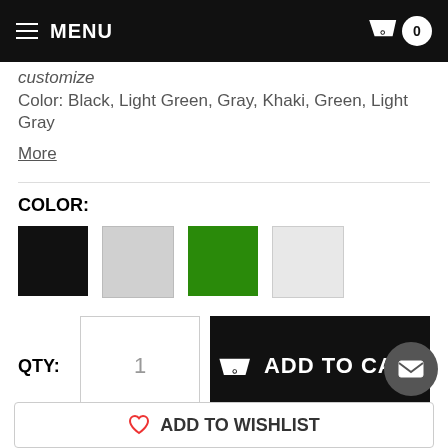MENU  0
Color: Black, Light Green, Gray, Khaki, Green, Light Gray
More
COLOR:
[Figure (other): Four color swatches: black, light gray, green, light gray]
QTY:  1
ADD TO CART
MAKE AN OFFER
ADD TO WISHLIST